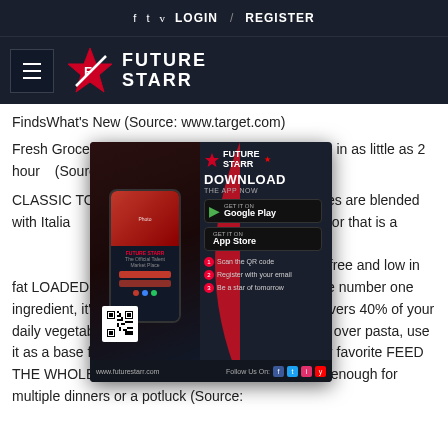f  t  v  LOGIN / REGISTER
[Figure (logo): FutureStarr logo with hamburger menu, star emblem and wordmark FUTURE STARR on dark navy background]
FindsWhat's New (Source: www.target.com)
[Figure (screenshot): FutureStarr app download popup with phone mockup, DOWNLOAD THE APP NOW text, Google Play and App Store buttons, 3 steps, QR code, and website www.futurestarr.com]
Fresh Groceries and more from your favorite stores - in as little as 2 hours (Source: www.target.com)
CLASSIC TOMATO BASIL: Ripe, sun-dried tomatoes are blended with Italian spices to create a balanced and rich flavor that is always satisfying GLUTEN FREE PASTA SAUCE: Made all natural ingredients, this spaghetti sauce is naturally gluten free and low in fat LOADED WITH VEGGIES: With tomatoes as the number one ingredient, it's no wonder each half cup serving delivers 40% of your daily vegetables QUICK & EASY DINNERS: Pour it over pasta, use it as a base for your own recipe, or add it to a family favorite FEED THE WHOLE FAMILY: One jar is 67 ounces, easily enough for multiple dinners or a potluck (Source: